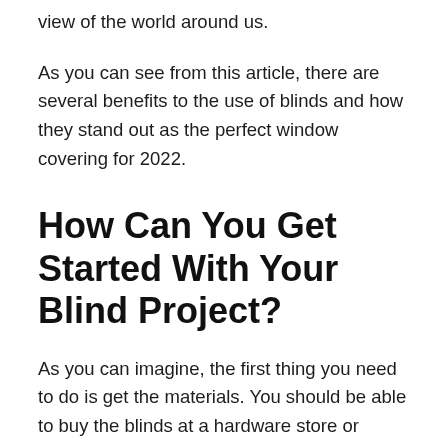view of the world around us.
As you can see from this article, there are several benefits to the use of blinds and how they stand out as the perfect window covering for 2022.
How Can You Get Started With Your Blind Project?
As you can imagine, the first thing you need to do is get the materials. You should be able to buy the blinds at a hardware store or online and they'll probably come with a template for easy installation.